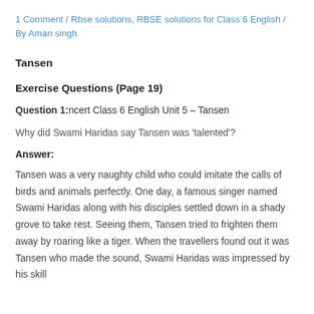1 Comment / Rbse solutions, RBSE solutions for Class 6 English / By Aman singh
Tansen
Exercise Questions (Page 19)
Question 1:ncert Class 6 English Unit 5 – Tansen
Why did Swami Haridas say Tansen was 'talented'?
Answer:
Tansen was a very naughty child who could imitate the calls of birds and animals perfectly. One day, a famous singer named Swami Haridas along with his disciples settled down in a shady grove to take rest. Seeing them, Tansen tried to frighten them away by roaring like a tiger. When the travellers found out it was Tansen who made the sound, Swami Haridas was impressed by his skill